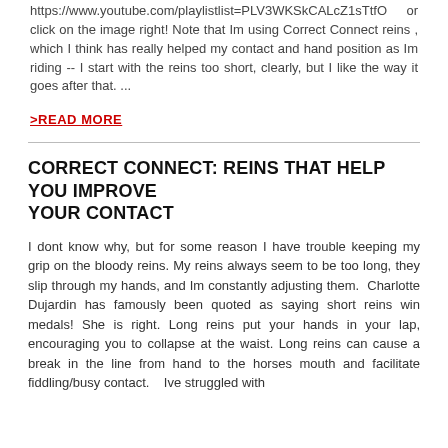https://www.youtube.com/playlistlist=PLV3WKSkCALcZ1sTtfO or click on the image right! Note that Im using Correct Connect reins , which I think has really helped my contact and hand position as Im riding -- I start with the reins too short, clearly, but I like the way it goes after that. ...
>READ MORE
CORRECT CONNECT: REINS THAT HELP YOU IMPROVE YOUR CONTACT
I dont know why, but for some reason I have trouble keeping my grip on the bloody reins. My reins always seem to be too long, they slip through my hands, and Im constantly adjusting them.  Charlotte Dujardin has famously been quoted as saying short reins win medals! She is right. Long reins put your hands in your lap, encouraging you to collapse at the waist. Long reins can cause a break in the line from hand to the horses mouth and facilitate fiddling/busy contact.    Ive struggled with